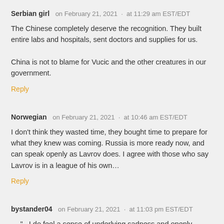Serbian girl   on February 21, 2021  ·  at 11:29 am EST/EDT
The Chinese completely deserve the recognition. They built entire labs and hospitals, sent doctors and supplies for us.

China is not to blame for Vucic and the other creatures in our government.
Reply
Norwegian    on February 21, 2021  ·  at 10:46 am EST/EDT
I don't think they wasted time, they bought time to prepare for what they knew was coming. Russia is more ready now, and can speak openly as Lavrov does. I agree with those who say Lavrov is in a league of his own…
Reply
bystander04    on February 21, 2021  ·  at 11:03 pm EST/EDT
….".. I do feel a sense of underlying sadness and openly-stated regret at how things turned out with the EU ..."